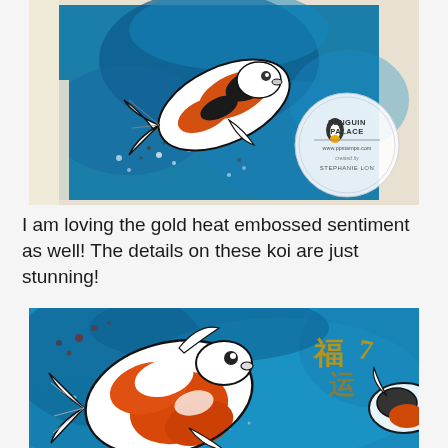[Figure (photo): A watercolor card featuring a koi fish with orange, black, and white coloring swimming on a blue watercolor background. A circular Penguin Palace logo/stamp is visible in the upper right, with text reading 'PENGUIN PALACE', 'www.ppstamps.com', and 'STEPHANIE LON'. The card is set on a light background.]
I am loving the gold heat embossed sentiment as well! The details on these koi are just stunning!
[Figure (photo): A close-up photo of a watercolor card featuring two koi fish with orange, white, and black coloring on a vivid blue watercolor background. Gold heat-embossed Asian/Chinese characters are visible on the right side of the card. The koi are detailed with fine black line work.]